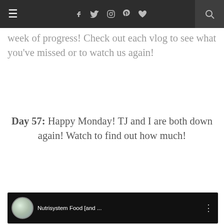≡ f 𝕥 🎥 𝗽 ♥ 🔍
week of progress! Check out each vlog to see what you've missed or to watch us again!
Day 57: Happy Monday! TJ and I are both down again! Watch to find out how much!
[Figure (screenshot): YouTube video embed showing a woman's face, with channel icon, video title 'Nutrisystem Food [and ...', three-dot menu icon, and YouTube play button overlay in red.]